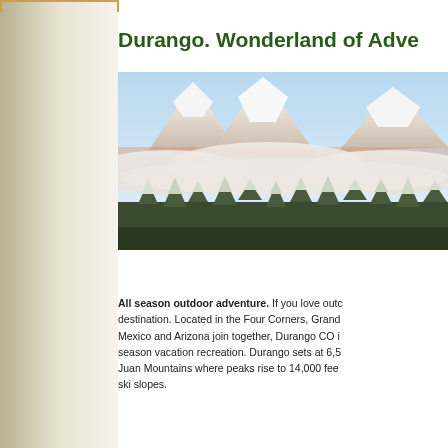Durango. Wonderland of Adventure
[Figure (photo): Snow-capped mountain peaks rising above a layer of clouds, with snow-covered evergreen trees in the foreground. Winter mountain landscape, likely the San Juan Mountains near Durango, Colorado.]
All season outdoor adventure. If you love outdoor recreation, Durango is your destination. Located in the Four Corners, Grand Junction where Colorado, New Mexico and Arizona join together, Durango CO is renowned for year round all season vacation recreation. Durango sets at 6,500 feet in the spectacular San Juan Mountains where peaks rise to 14,000 feet providing breathtaking scenery and ski slopes.